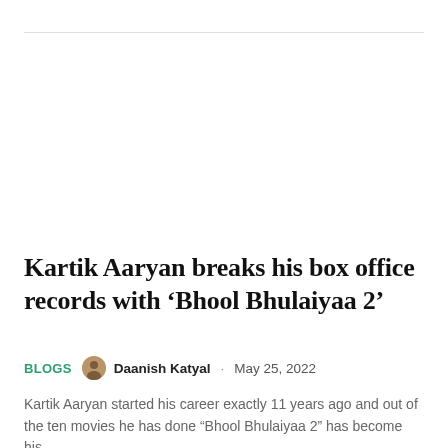Kartik Aaryan breaks his box office records with ‘Bhool Bhulaiyaa 2’
BLOGS  Daanish Katyal · May 25, 2022
Kartik Aaryan started his career exactly 11 years ago and out of the ten movies he has done “Bhool Bhulaiyaa 2” has become his…